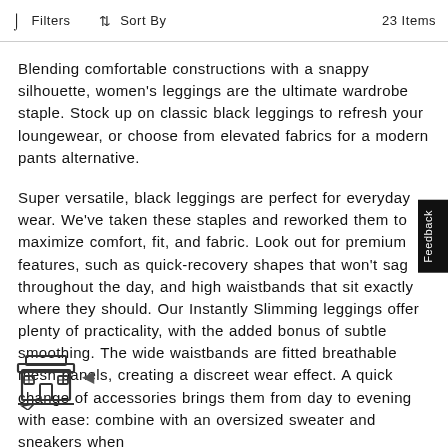Filters   Sort By   23 Items
Blending comfortable constructions with a snappy silhouette, women's leggings are the ultimate wardrobe staple. Stock up on classic black leggings to refresh your loungewear, or choose from elevated fabrics for a modern pants alternative.
Super versatile, black leggings are perfect for everyday wear. We've taken these staples and reworked them to maximize comfort, fit, and fabric. Look out for premium features, such as quick-recovery shapes that won't sag throughout the day, and high waistbands that sit exactly where they should. Our Instantly Slimming leggings offer plenty of practicality, with the added bonus of subtle smoothing. The wide waistbands are fitted breathable mesh panels, creating a discreet wear effect. A quick change of accessories brings them from day to evening with ease: combine with an oversized sweater and sneakers when
[Figure (illustration): Small shop/storefront icon illustration at bottom left of page]